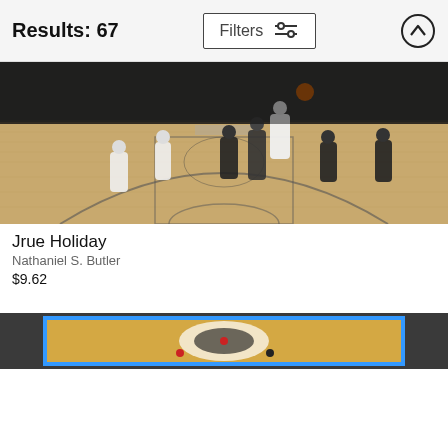Results: 67
Filters
[Figure (photo): NBA basketball game photo showing players on an indoor basketball court. Milwaukee Bucks players in white uniforms and Brooklyn Nets players in black uniforms. A player is going up for a shot near the basket area. The Barclays Center arena is visible in the background.]
Jrue Holiday
Nathaniel S. Butler
$9.62
[Figure (photo): Partial view of another NBA basketball game photo, showing a colorful basketball court from an elevated angle with players visible at the bottom.]